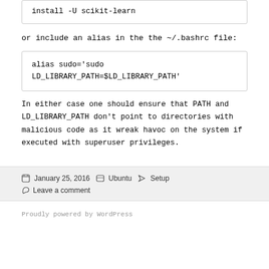install -U scikit-learn
or include an alias in the the ~/.bashrc file:
alias sudo='sudo LD_LIBRARY_PATH=$LD_LIBRARY_PATH'
In either case one should ensure that PATH and LD_LIBRARY_PATH don't point to directories with malicious code as it wreak havoc on the system if executed with superuser privileges.
January 25, 2016  Ubuntu  Setup  Leave a comment
Proudly powered by WordPress